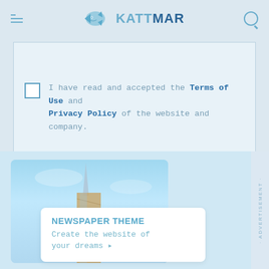KATTMAR
SUBSCRIBE
I have read and accepted the Terms of Use and Privacy Policy of the website and company.
[Figure (photo): Modern building spire against a blue sky, with a white card overlay showing NEWSPAPER THEME promotion]
NEWSPAPER THEME
Create the website of your dreams ▸
· ADVERTISEMENT ·